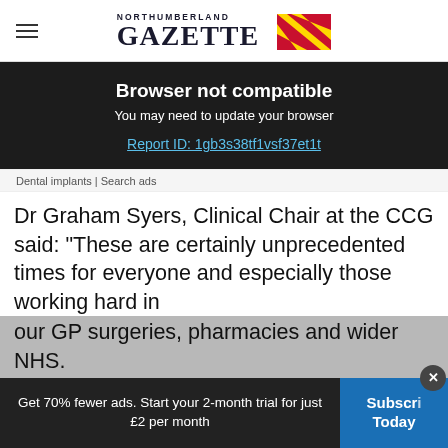Northumberland Gazette
Browser not compatible
You may need to update your browser
Report ID: 1gb3s38tf1vsf37et1t
Dental implants | Search ads
Dr Graham Syers, Clinical Chair at the CCG said: “These are certainly unprecedented times for everyone and especially those working hard in our GP surgeries, pharmacies and wider NHS.
“We are really focusing on working to gather
Get 70% fewer ads. Start your 2-month trial for just £2 per month